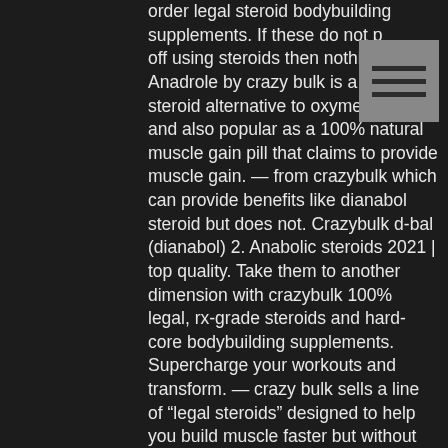order legal steroid bodybuilding supplements. If these do not put you off using steroids then nothing will. Anadrole by crazy bulk is a legal steroid alternative to oxymethalone and also popular as a 100% natural muscle gain pill that claims to provide muscle gain. — from crazybulk which can provide benefits like dianabol steroid but does not. Crazybulk d-bal (dianabol) 2. Anabolic steroids 2021 | top quality. Take them to another dimension with crazybulk 100% legal, rx-grade steroids and hard-core bodybuilding supplements. Supercharge your workouts and transform. — crazy bulk sells a line of “legal steroids” designed to help you build muscle faster but without the negative side effects that come with using. Where to buy legal steroids? — the best place to buy these legal steroids is from the official crazy bulk website. They do not work with any 3rd party Our outlets and partners are located
[Figure (other): Hamburger menu icon (three horizontal lines) on a grey background, overlaid on the text]